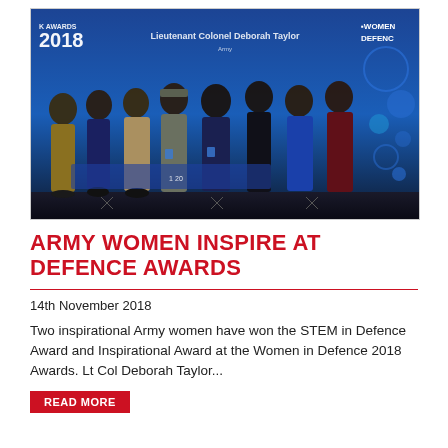[Figure (photo): Group photo of eight people at the Women in Defence Awards 2018 ceremony. They are standing in front of a blue backdrop with 'K AWARDS 2018' on the left and 'WOMEN DEFENCE' on the right. A screen in the background shows 'Lieutenant Colonel Deborah Taylor'. The group includes women in formal evening wear and military uniform, and men in suits/tuxedos.]
ARMY WOMEN INSPIRE AT DEFENCE AWARDS
14th November 2018
Two inspirational Army women have won the STEM in Defence Award and Inspirational Award at the Women in Defence 2018 Awards. Lt Col Deborah Taylor...